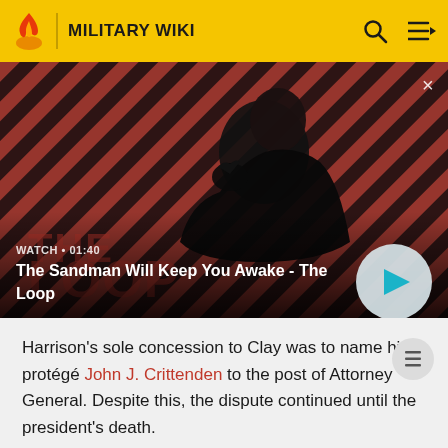MILITARY WIKI
[Figure (screenshot): Video thumbnail showing a dark-cloaked figure with a raven on shoulder against a red and black diagonal striped background. Title card reads 'THE LOOP'. Video duration shown as 01:40.]
WATCH • 01:40
The Sandman Will Keep You Awake - The Loop
Harrison's sole concession to Clay was to name his protégé John J. Crittenden to the post of Attorney General. Despite this, the dispute continued until the president's death.